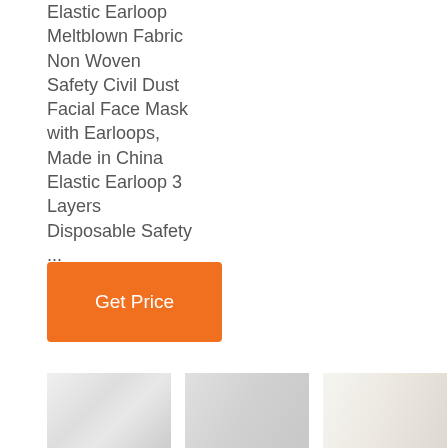Elastic Earloop Meltblown Fabric Non Woven Safety Civil Dust Facial Face Mask with Earloops, Made in China Elastic Earloop 3 Layers Disposable Safety ...
Get Price
[Figure (photo): Three thumbnail photos of white fabric/non-woven material]